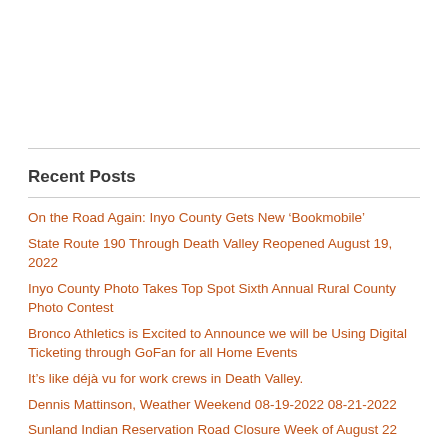Recent Posts
On the Road Again: Inyo County Gets New ‘Bookmobile’
State Route 190 Through Death Valley Reopened August 19, 2022
Inyo County Photo Takes Top Spot Sixth Annual Rural County Photo Contest
Bronco Athletics is Excited to Announce we will be Using Digital Ticketing through GoFan for all Home Events
It’s like déjà vu for work crews in Death Valley.
Dennis Mattinson, Weather Weekend 08-19-2022 08-21-2022
Sunland Indian Reservation Road Closure Week of August 22
Northern Inyo Healthcare District’s Pharmacy Relocation will Require